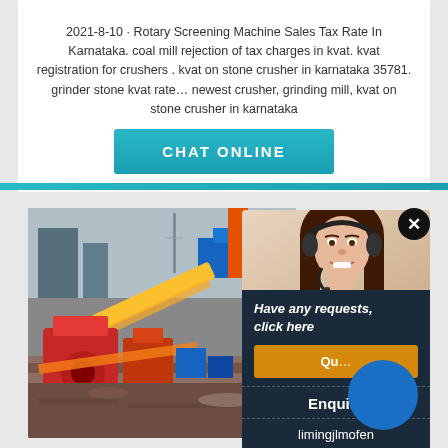2021-8-10 · Rotary Screening Machine Sales Tax Rate In Karnataka. coal mill rejection of tax charges in kvat. kvat registration for crushers . kvat on stone crusher in karnataka 35781. grinder stone kvat rate… newest crusher, grinding mill, kvat on stone crusher in karnataka
CHAT ONLINE
[Figure (photo): Industrial stone crushing plant with conveyor belts, orange/red machinery, and processing equipment at an outdoor site]
[Figure (photo): Woman with headset smiling - customer service representative]
Have any requests, click here
Quo[te]
Enquiry
limingjlmofen@sina.com